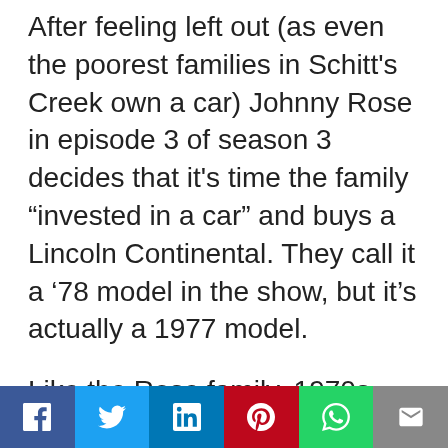After feeling left out (as even the poorest families in Schitt's Creek own a car) Johnny Rose in episode 3 of season 3 decides that it's time the family “invested in a car” and buys a Lincoln Continental. They call it a ‘78 model in the show, but it’s actually a 1977 model.
Like the Rose family, 1970s Lincoln Continental Town cars exude an I-used-to-be-luxurious look wherever
Facebook Twitter LinkedIn Pinterest WhatsApp Email